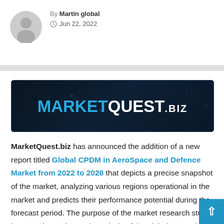By Martin global
Jun 22, 2022
[Figure (logo): MarketQuest.biz logo banner on dark navy background]
MarketQuest.biz has announced the addition of a new report titled Global CPDM in AeroSpace and Defence Market from 2022 to 2028 that depicts a precise snapshot of the market, analyzing various regions operational in the market and predicts their performance potential during the forecast period. The purpose of the market research study is to conduct a thorough analysis of the global CPDM in AeroSpace